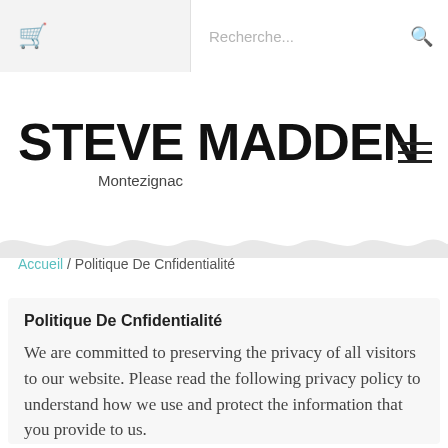Recherche...
STEVE MADDEN
Montezignac
Accueil / Politique De Cnfidentialité
Politique De Cnfidentialité
We are committed to preserving the privacy of all visitors to our website. Please read the following privacy policy to understand how we use and protect the information that you provide to us.